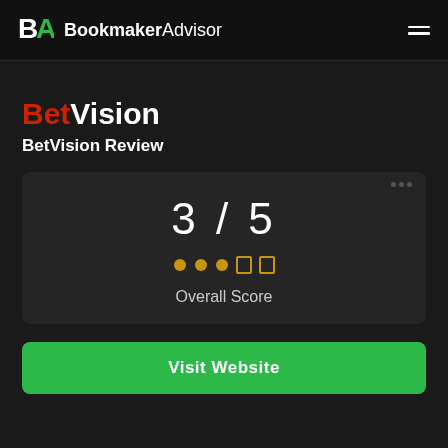BookmakerAdvisor
BetVision
BetVision Review
[Figure (infographic): Score card showing 3/5 overall score with star rating display]
Visit Website